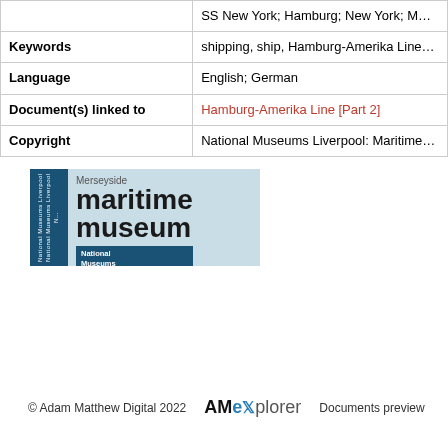|  | SS New York; Hamburg; New York; M… |
| Keywords | shipping, ship, Hamburg-Amerika Line… |
| Language | English; German |
| Document(s) linked to | Hamburg-Amerika Line [Part 2] |
| Copyright | National Museums Liverpool: Maritime… |
[Figure (logo): Merseyside Maritime Museum logo with National Museums Liverpool branding]
© Adam Matthew Digital 2022   AM explorer   Documents preview